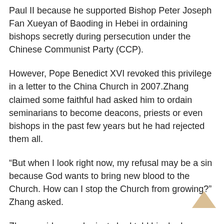Paul II because he supported Bishop Peter Joseph Fan Xueyan of Baoding in Hebei in ordaining bishops secretly during persecution under the Chinese Communist Party (CCP).
However, Pope Benedict XVI revoked this privilege in a letter to the China Church in 2007.Zhang claimed some faithful had asked him to ordain seminarians to become deacons, priests or even bishops in the past few years but he had rejected them all.
“But when I look right now, my refusal may be a sin because God wants to bring new blood to the Church. How can I stop the Church from growing?” Zhang asked.
Zhang said several priests had told him he has a right as a bishop to ordain clergy because